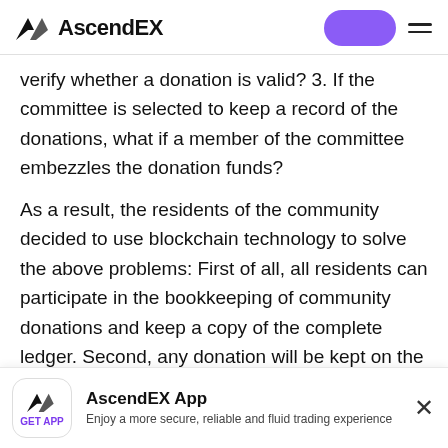AscendEX
verify whether a donation is valid? 3. If the committee is selected to keep a record of the donations, what if a member of the committee embezzles the donation funds?
As a result, the residents of the community decided to use blockchain technology to solve the above problems: First of all, all residents can participate in the bookkeeping of community donations and keep a copy of the complete ledger. Second, any donation will be kept on the book and the donation record will be also be synchronized with the copy of the ledger
[Figure (screenshot): AscendEX App download banner with logo, app name, description 'Enjoy a more secure, reliable and fluid trading experience', GET APP label, and close button]
AscendEX App
Enjoy a more secure, reliable and fluid trading experience
GET APP